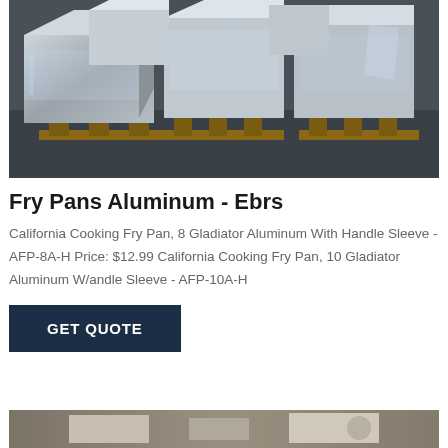[Figure (photo): Photograph of large aluminum blocks/billets wrapped in plastic film, stacked on wooden pallets in a warehouse or factory floor.]
Fry Pans Aluminum - Ebrs
California Cooking Fry Pan, 8 Gladiator Aluminum With Handle Sleeve - AFP-8A-H Price: $12.99 California Cooking Fry Pan, 10 Gladiator Aluminum W/andle Sleeve - AFP-10A-H
GET QUOTE
[Figure (photo): Partial photograph of another product, cut off at the bottom of the page.]